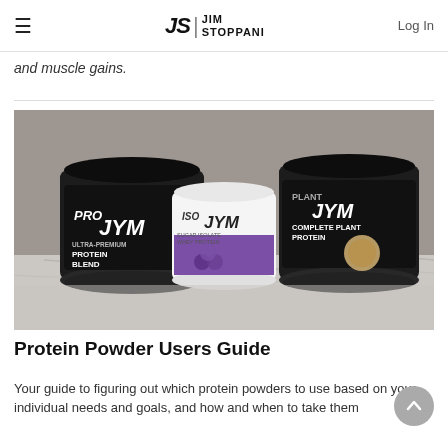JS | JIM STOPPANI   Log In
and muscle gains.
[Figure (photo): Three protein supplement containers on a marble countertop: Pro JYM Ultra-Premium Protein Blend (black jar, left), Iso JYM Sugar Isolate Whey Protein (white/clear jar with purple label, center), and Plant JYM Complete Plant Protein (black jar, right). Kitchen background.]
Protein Powder Users Guide
Your guide to figuring out which protein powders to use based on your individual needs and goals, and how and when to take them